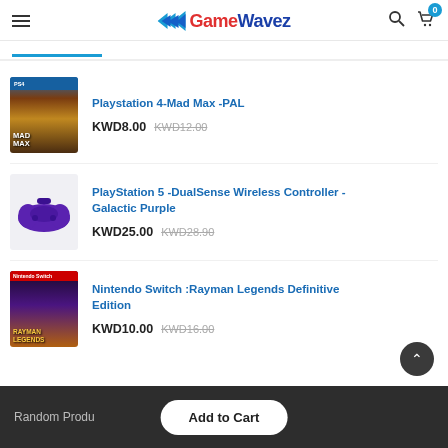[Figure (screenshot): GameWavez e-commerce website header with hamburger menu, logo, search icon, and cart icon showing 0 items]
Playstation 4-Mad Max -PAL
KWD8.00  KWD12.00
PlayStation 5 -DualSense Wireless Controller - Galactic Purple
KWD25.00  KWD28.90
Nintendo Switch :Rayman Legends Definitive Edition
KWD10.00  KWD16.00
Random Produ  Add to Cart